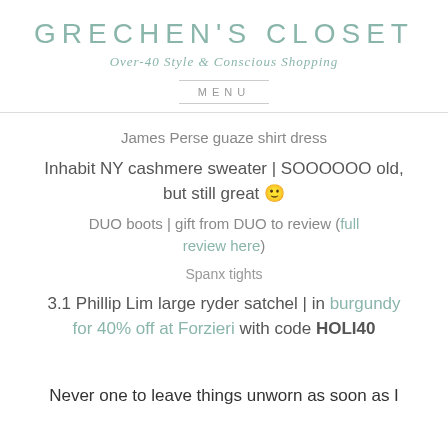GRECHEN'S CLOSET
Over-40 Style & Conscious Shopping
MENU
James Perse guaze shirt dress
Inhabit NY cashmere sweater | SOOOOOO old, but still great 🙂
DUO boots | gift from DUO to review (full review here)
Spanx tights
3.1 Phillip Lim large ryder satchel | in burgundy for 40% off at Forzieri with code HOLI40
Never one to leave things unworn as soon as I